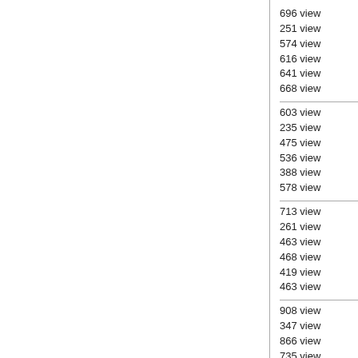696 view
251 view
574 view
616 view
641 view
668 view
603 view
235 view
475 view
536 view
388 view
578 view
713 view
261 view
463 view
468 view
419 view
463 view
908 view
347 view
866 view
735 view
649 view
930 view
565 view